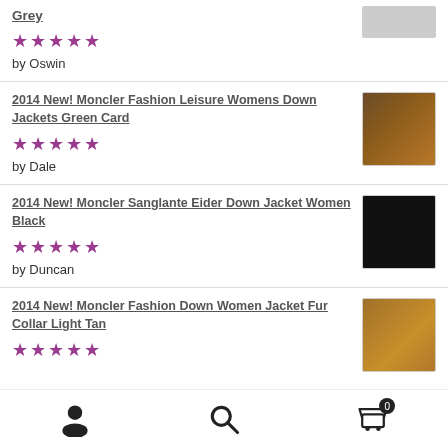Grey
[Figure (other): 5-star rating shown as purple stars]
by Oswin
2014 New! Moncler Fashion Leisure Womens Down Jackets Green Card
[Figure (photo): Thumbnail image of a fur jacket in brown/golden color]
[Figure (other): 5-star rating shown as purple stars]
by Dale
2014 New! Moncler Sanglante Eider Down Jacket Women Black
[Figure (photo): Thumbnail image of a black jacket]
[Figure (other): 5-star rating shown as purple stars]
by Duncan
2014 New! Moncler Fashion Down Women Jacket Fur Collar Light Tan
[Figure (photo): Thumbnail image of a tan fur collar jacket]
[Figure (other): Partial 5-star rating shown as purple stars]
User icon | Search icon | Cart icon with badge 0